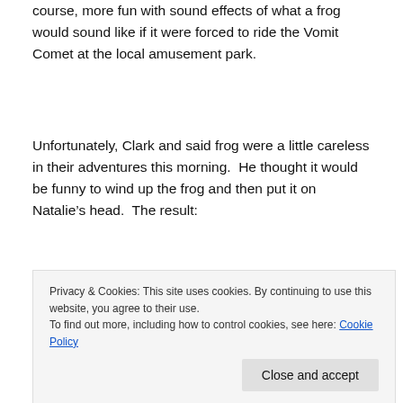course, more fun with sound effects of what a frog would sound like if it were forced to ride the Vomit Comet at the local amusement park.
Unfortunately, Clark and said frog were a little careless in their adventures this morning.  He thought it would be funny to wind up the frog and then put it on Natalie’s head.  The result:
[Figure (photo): Back of a child's head with brown hair, with a teal/blue toy frog placed on top, against a dark background.]
Privacy & Cookies: This site uses cookies. By continuing to use this website, you agree to their use.
To find out more, including how to control cookies, see here: Cookie Policy
[Figure (photo): Bottom portion of a photo showing a face partially visible at the bottom of the page.]